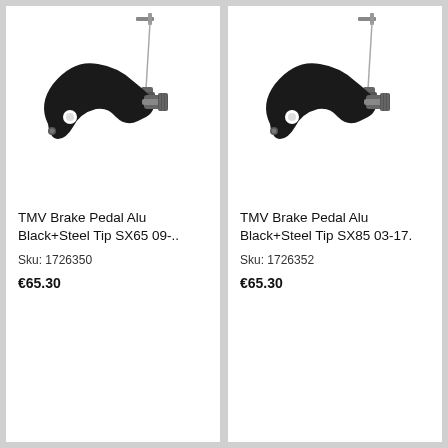[Figure (photo): TMV Brake Pedal Alu Black+Steel Tip SX65 09-.. product photo showing a black curved brake pedal with steel tip and cable]
TMV Brake Pedal Alu Black+Steel Tip SX65 09-..
Sku: 1726350
€65.30
[Figure (photo): TMV Brake Pedal Alu Black+Steel Tip SX85 03-17. product photo showing a black curved brake pedal with steel tip and cable]
TMV Brake Pedal Alu Black+Steel Tip SX85 03-17.
Sku: 1726352
€65.30